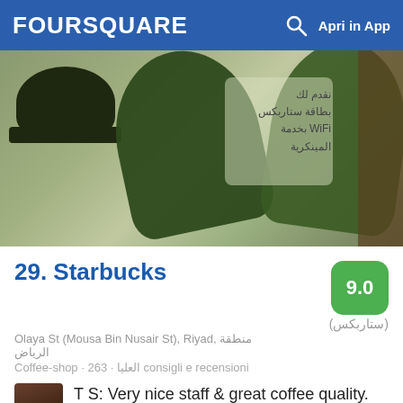FOURSQUARE   Apri in App
[Figure (photo): Starbucks storefront with green umbrellas and Arabic signage on window]
29. Starbucks
(ستاربكس)
Olaya St (Mousa Bin Nusair St), Riyad, منطقة الرياض
Coffee-shop · 263 · العليا consigli e recensioni
T S: Very nice staff & great coffee quality. Nice seating area for both singles & families.
[Figure (photo): Partial view of ruins or outdoor scene at bottom of page]